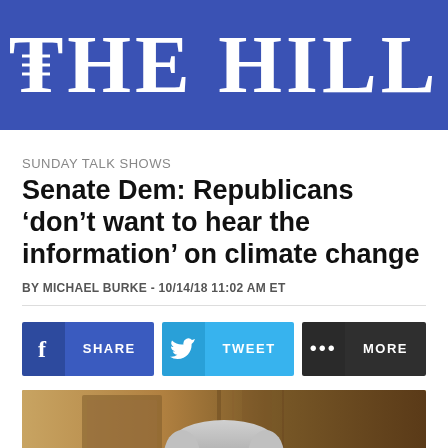THE HILL
SUNDAY TALK SHOWS
Senate Dem: Republicans ‘don’t want to hear the information’ on climate change
BY MICHAEL BURKE - 10/14/18 11:02 AM ET
[Figure (screenshot): Social sharing buttons: Facebook SHARE, Twitter TWEET, and MORE options]
[Figure (photo): Photo of a man with grey hair, apparently a Senate Democrat, seated at what appears to be a congressional hearing room with a decorative wooden panel background]